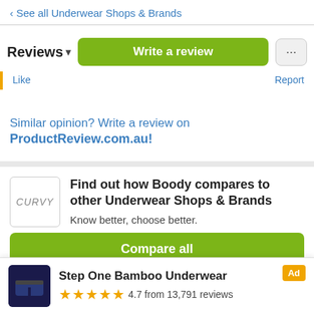‹ See all Underwear Shops & Brands
Reviews ▾
Write a review
Like    Report
Similar opinion? Write a review on ProductReview.com.au!
Find out how Boody compares to other Underwear Shops & Brands
Know better, choose better.
Compare all
Sue l. Richmond Tweed, NSW
Best Knickers Ever!
[Figure (infographic): Ad banner for Step One Bamboo Underwear showing product image, 4.7 star rating from 13,791 reviews, and Ad badge]